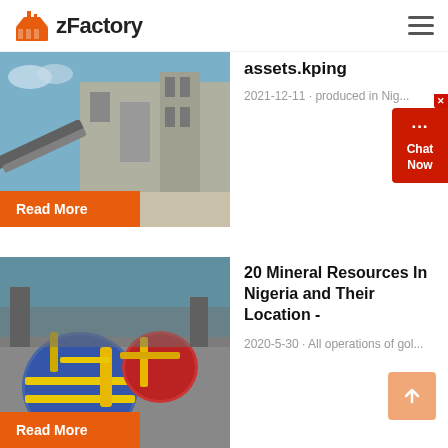zFactory
[Figure (photo): Industrial conveyor belt and factory building exterior]
assets.kping
2021-12-11 · produced in Nig...
Read More
[Figure (photo): Aerial view of industrial mining equipment with large rotating drums]
20 Mineral Resources In Nigeria and Their Location -
2020-5-30 · All operations of gol...
Read More